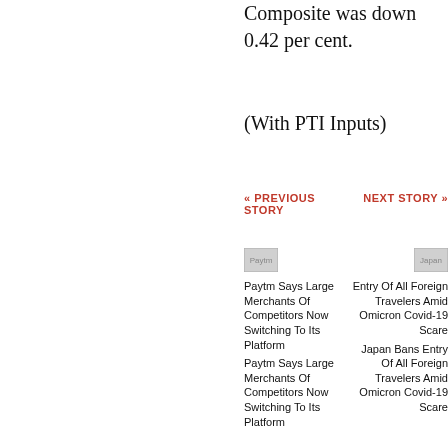China's Shanghai Composite was down 0.42 per cent.
(With PTI Inputs)
« PREVIOUS STORY
NEXT STORY »
[Figure (photo): Paytm image placeholder]
Paytm Says Large Merchants Of Competitors Now Switching To Its Platform
Paytm Says Large Merchants Of Competitors Now Switching To Its Platform
[Figure (photo): Japan Ban image placeholder]
Japan Bans Entry Of All Foreign Travelers Amid Omicron Covid-19 Scare
Japan Bans Entry Of All Foreign Travelers Amid Omicron Covid-19 Scare